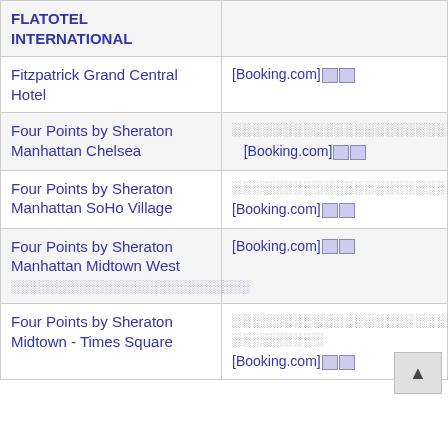| Hotel Name | Booking Info |
| --- | --- |
| FLATOTEL INTERNATIONAL |  |
| Fitzpatrick Grand Central Hotel | [Booking.com] |
| Four Points by Sheraton Manhattan Chelsea | ░░░░░░░░░░░░░░░░░░░░░░░░░░░░░ [Booking.com] |
| Four Points by Sheraton Manhattan SoHo Village | ░░░░░░░░░░░░░░░░░░░░░░░░░░░░░░░ [Booking.com] |
| Four Points by Sheraton Manhattan Midtown West ░░░░░░░░░░░░░░░░░░░░░░░░ | [Booking.com] |
| Four Points by Sheraton Midtown - Times Square | ░░░░░░░░░░░░░░░░░░░░░░░-░░░░░░░░░ [Booking.com] |